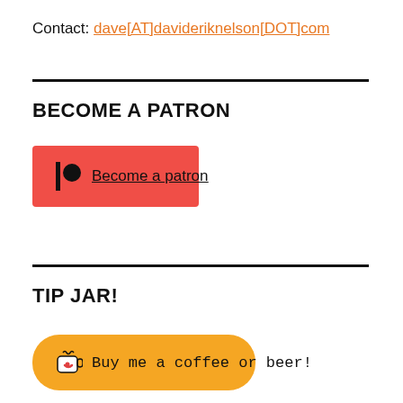Contact: dave[AT]davideriknelson[DOT]com
BECOME A PATRON
[Figure (other): Patreon button with logo and text 'Become a patron' on red background]
TIP JAR!
[Figure (other): Buy Me a Coffee button with cup icon and text 'Buy me a coffee or beer!' on orange background]